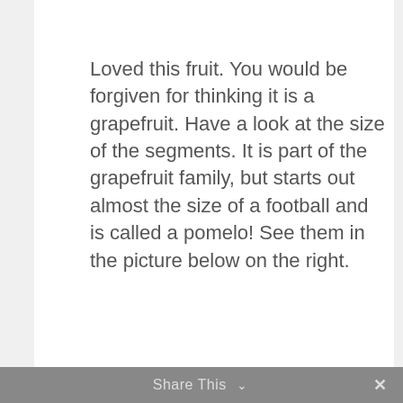Loved this fruit.  You would be forgiven for thinking it is a grapefruit.  Have a look at the size of the segments.  It is part of the grapefruit family, but starts out almost the size of a football and is called a pomelo!  See them in the picture below on the right.
Share This ∨  ✕